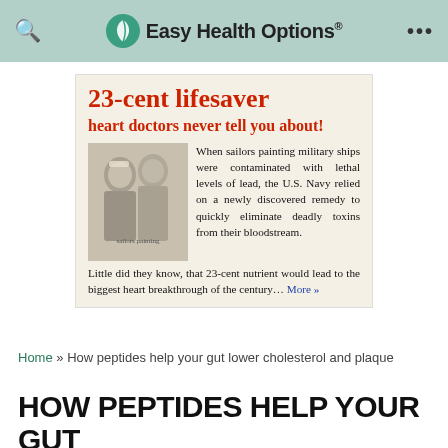Easy Health Options®
[Figure (other): Newspaper-style advertisement clipping with red headline '23-cent lifesaver heart doctors never tell you about!' featuring a vintage black-and-white photo of sailors and body text about U.S. Navy remedy for lead poisoning.]
Home » How peptides help your gut lower cholesterol and plaque
HOW PEPTIDES HELP YOUR GUT